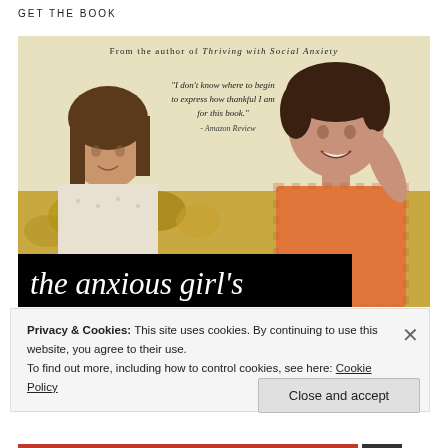GET THE BOOK
[Figure (photo): Book cover image for 'the anxious girl's' showing two people sitting on a floral couch. The woman on the right is smiling and wearing an orange top. Text overlay reads: 'From the author of Thriving with Social Anxiety' and a handwritten-style quote: '"I don't know where to begin to express how thankful I am for this book." - Amazon Review'. Black banner at bottom reads 'the anxious girl's' in italic serif font.]
Privacy & Cookies: This site uses cookies. By continuing to use this website, you agree to their use.
To find out more, including how to control cookies, see here: Cookie Policy
Close and accept